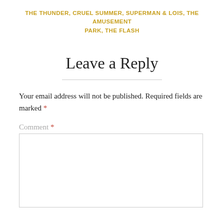THE THUNDER, CRUEL SUMMER, SUPERMAN & LOIS, THE AMUSEMENT PARK, THE FLASH
Leave a Reply
Your email address will not be published. Required fields are marked *
Comment *